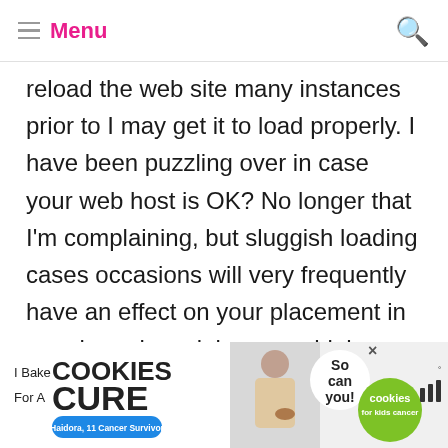Menu
reload the web site many instances prior to I may get it to load properly. I have been puzzling over in case your web host is OK? No longer that I'm complaining, but sluggish loading cases occasions will very frequently have an effect on your placement in google and can injury your high quality ranking if advertising and marketing with Adwords. Well I'm including this RSS to my email and
[Figure (infographic): Advertisement banner: I Bake COOKIES For A CURE - Haidora, 11 Cancer Survivor - So can you! - cookies for kids cancer logo]